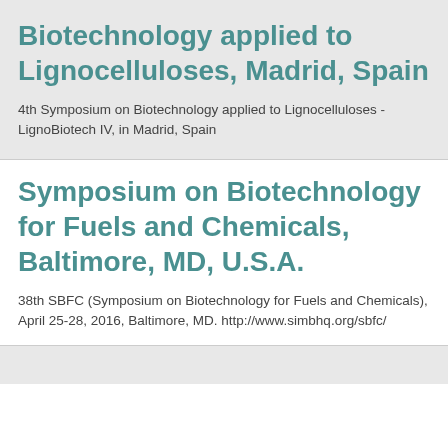Biotechnology applied to Lignocelluloses, Madrid, Spain
4th Symposium on Biotechnology applied to Lignocelluloses - LignoBiotech IV, in Madrid, Spain
Symposium on Biotechnology for Fuels and Chemicals, Baltimore, MD, U.S.A.
38th SBFC (Symposium on Biotechnology for Fuels and Chemicals), April 25-28, 2016, Baltimore, MD. http://www.simbhq.org/sbfc/